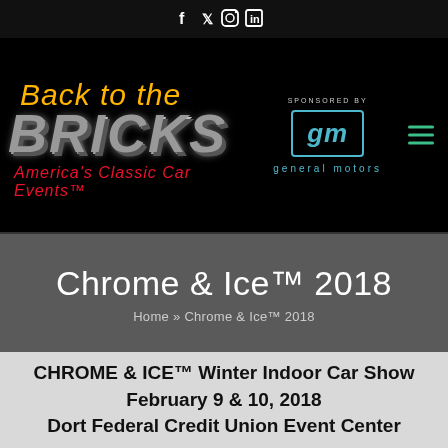Social media icons: Facebook, Twitter, Instagram, LinkedIn
[Figure (logo): Back to the Bricks logo with script text 'Back to the Bricks', bold block letters 'BRICKS', tagline 'America's Classic Car Events', sponsored by General Motors GM logo in teal]
Chrome & Ice™ 2018
Home » Chrome & Ice™ 2018
CHROME & ICE™ Winter Indoor Car Show
February 9 & 10, 2018
Dort Federal Credit Union Event Center